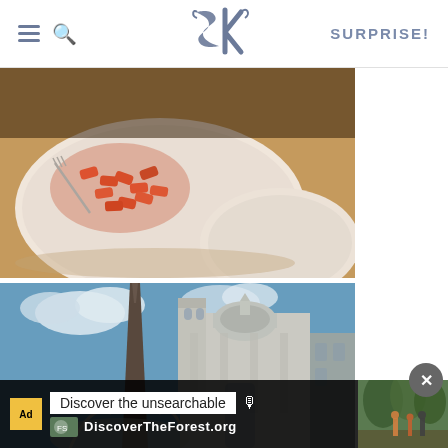SK | SURPRISE!
[Figure (photo): Close-up of a white bowl with rigatoni pasta in tomato sauce, with a fork, on a table]
[Figure (photo): Upward angle view of Piazza Navona in Rome featuring the Fontana dei Quattro Fiumi obelisk and the church of Sant'Agnese in Agone under a partly cloudy sky]
[Figure (photo): Advertisement showing hikers in a forest. Text: 'Discover the unsearchable' and 'DiscoverTheForest.org']